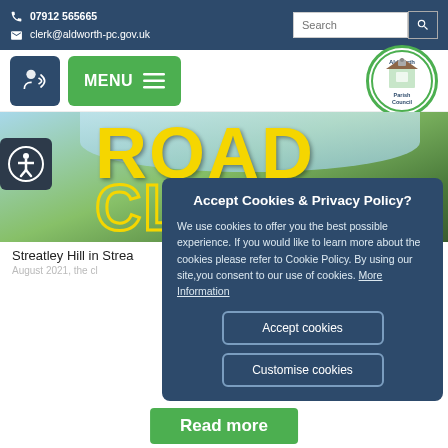07912 565665 | clerk@aldworth-pc.gov.uk | Search
[Figure (screenshot): Navigation bar with audio button, green MENU button, and Aldworth Parish Council circular logo]
[Figure (photo): Hero banner image showing road closure text in yellow on a countryside background, with accessibility icon button on left]
Streatley Hill in Strea
August 2021, the cl
[Figure (screenshot): Cookie consent modal dialog with Accept Cookies & Privacy Policy title, descriptive text, More Information link, Accept cookies button, and Customise cookies button]
Read more